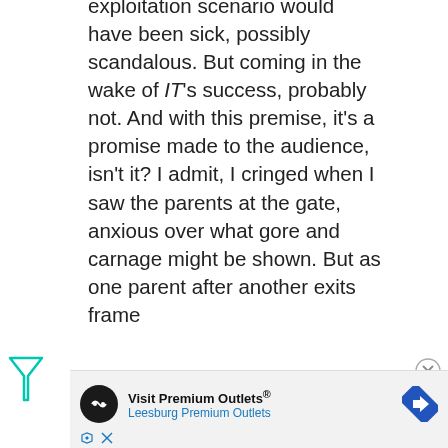exploitation scenario would have been sick, possibly scandalous. But coming in the wake of IT's success, probably not. And with this premise, it's a promise made to the audience, isn't it? I admit, I cringed when I saw the parents at the gate, anxious over what gore and carnage might be shown. But as one parent after another exits frame…
[Figure (other): Advertisement banner: Visit Premium Outlets® - Leesburg Premium Outlets, with logo and navigation arrow icon]